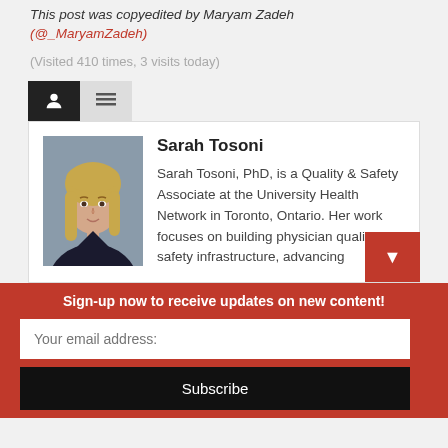This post was copyedited by Maryam Zadeh (@_MaryamZadeh)
(Visited 410 times, 3 visits today)
[Figure (photo): Author photo of Sarah Tosoni, a woman with long blonde hair wearing a dark jacket]
Sarah Tosoni
Sarah Tosoni, PhD, is a Quality & Safety Associate at the University Health Network in Toronto, Ontario. Her work focuses on building physician quality & safety infrastructure, advancing
Sign-up now to receive updates on new content!
Your email address:
Subscribe